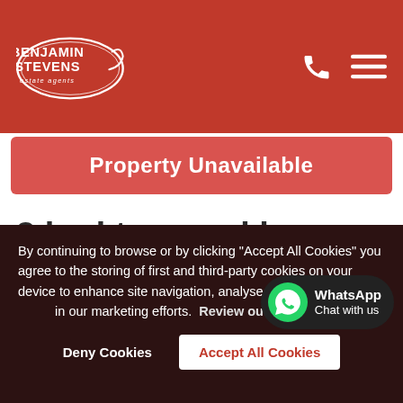[Figure (logo): Benjamin Stevens Estate Agents logo — white oval with red background, text BENJAMIN STEVENS estate agents]
Property Unavailable
3 bed terraced house for sale in Corncastle Road,
By continuing to browse or by clicking "Accept All Cookies" you agree to the storing of first and third-party cookies on your device to enhance site navigation, analyse site content and assist in our marketing efforts.  Review our Cookie
Deny Cookies   Accept All Cookies